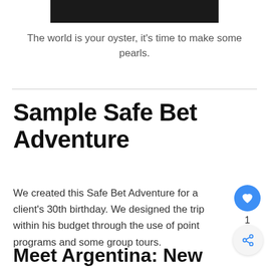[Figure (other): Dark banner/header bar at the top of the page]
The world is your oyster, it's time to make some pearls.
Sample Safe Bet Adventure
We created this Safe Bet Adventure for a client's 30th birthday. We designed the trip within his budget through the use of point programs and some group tours.
Meet Argentina: New